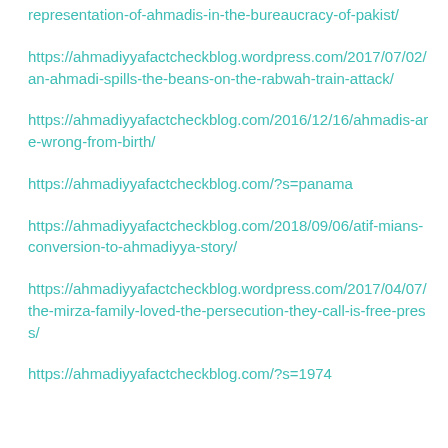representation-of-ahmadis-in-the-bureaucracy-of-pakist/
https://ahmadiyyafactcheckblog.wordpress.com/2017/07/02/an-ahmadi-spills-the-beans-on-the-rabwah-train-attack/
https://ahmadiyyafactcheckblog.com/2016/12/16/ahmadis-are-wrong-from-birth/
https://ahmadiyyafactcheckblog.com/?s=panama
https://ahmadiyyafactcheckblog.com/2018/09/06/atif-mians-conversion-to-ahmadiyya-story/
https://ahmadiyyafactcheckblog.wordpress.com/2017/04/07/the-mirza-family-loved-the-persecution-they-call-is-free-press/
https://ahmadiyyafactcheckblog.com/?s=1974